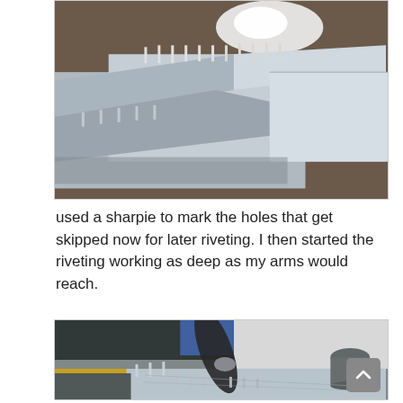[Figure (photo): Close-up photograph of metal aircraft parts with rivets/pins sticking up from aluminum sheet metal on a workbench]
used a sharpie to mark the holes that get skipped now for later riveting. I then started the riveting working as deep as my arms would reach.
[Figure (photo): Workshop photo showing riveting process with a rivet gun/tool being used on aluminum sheet metal parts with many protruding rivets/clecos visible, workshop background with trash can and shelving]